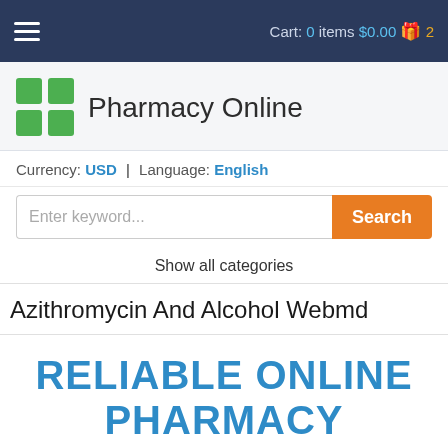Cart: 0 items $0.00 2
[Figure (logo): Pharmacy Online logo with green cross icon and text 'Pharmacy Online']
Currency: USD | Language: English
Enter keyword... Search
Show all categories
Azithromycin And Alcohol Webmd
RELIABLE ONLINE PHARMACY
> Click here to order now